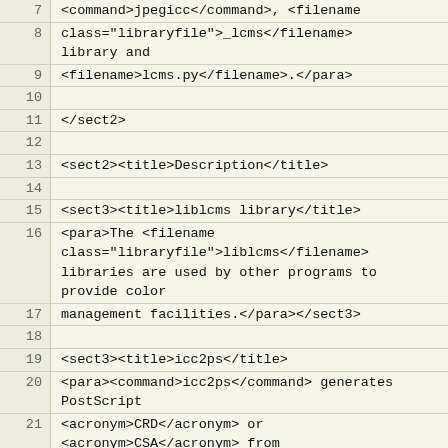| line | code |
| --- | --- |
| 7 | <command>jpegicc</command>, <filename |
| 8 | class="libraryfile">_lcms</filename>
library and |
| 9 | <filename>lcms.py</filename>.</para> |
| 10 |  |
| 11 | </sect2> |
| 12 |  |
| 13 | <sect2><title>Description</title> |
| 14 |  |
| 15 | <sect3><title>liblcms library</title> |
| 16 | <para>The <filename
class="libraryfile">liblcms</filename>
libraries are used by other programs to
provide color |
| 17 | management facilities.</para></sect3> |
| 18 |  |
| 19 | <sect3><title>icc2ps</title> |
| 20 | <para><command>icc2ps</command> generates
PostScript |
| 21 | <acronym>CRD</acronym> or
<acronym>CSA</acronym> from |
| 22 | <acronym>ICC</acronym> profiles.</para>
</sect3> |
| 23 |  |